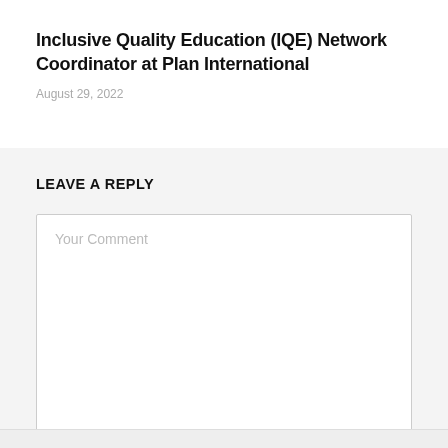Inclusive Quality Education (IQE) Network Coordinator at Plan International
August 29, 2022
LEAVE A REPLY
Your Comment